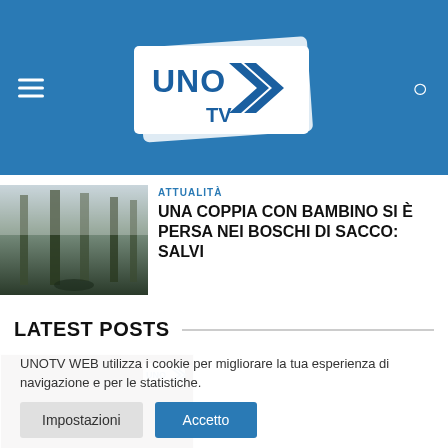[Figure (logo): UNO TV logo - white shield/arrow shape with UNO TV text in blue, on blue background with hamburger menu icon and search icon]
ATTUALITÀ
UNA COPPIA CON BAMBINO SI È PERSA NEI BOSCHI DI SACCO: SALVI
LATEST POSTS
UNOTV WEB utilizza i cookie per migliorare la tua esperienza di navigazione e per le statistiche.
Impostazioni
Accetto